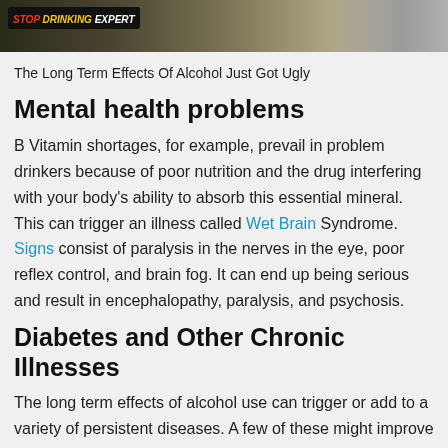[Figure (photo): Banner image showing a 'Stop Drinking Expert' logo/advertisement with a person in the background]
The Long Term Effects Of Alcohol Just Got Ugly
Mental health problems
B Vitamin shortages, for example, prevail in problem drinkers because of poor nutrition and the drug interfering with your body's ability to absorb this essential mineral. This can trigger an illness called Wet Brain Syndrome. Signs consist of paralysis in the nerves in the eye, poor reflex control, and brain fog. It can end up being serious and result in encephalopathy, paralysis, and psychosis.
Diabetes and Other Chronic Illnesses
The long term effects of alcohol use can trigger or add to a variety of persistent diseases. A few of these might improve when an individual stops drinking, however oftentimes the damage is lasting.